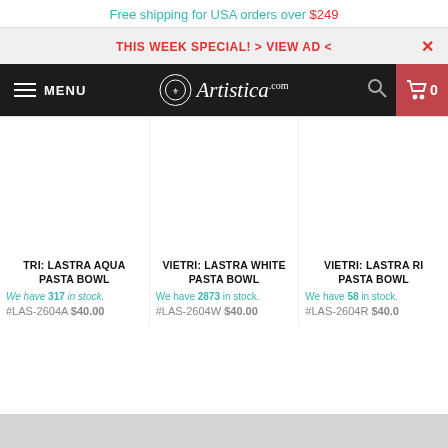Free shipping for USA orders over $249
THIS WEEK SPECIAL! > VIEW AD <
MENU | Artistica.com | 0
TRI: LASTRA AQUA PASTA BOWL
We have 317 in stock.
#LAS-2604A $40.00
VIETRI: LASTRA WHITE PASTA BOWL
We have 2873 in stock.
#LAS-2604W $40.00
VIETRI: LASTRA RI PASTA BOWL
We have 58 in stock.
#LAS-2604R $40.00